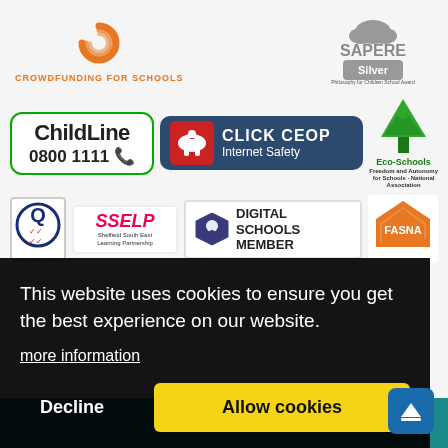[Figure (logo): Orange spiral/sun logo - Crowdfunding for Schools]
[Figure (logo): SAPERE Silver - Philosophy for Children School Award]
[Figure (logo): ChildLine 0800 1111 badge]
[Figure (logo): CLICK CEOP Internet Safety badge]
[Figure (logo): Eco-Schools logo]
[Figure (logo): Q quality mark badge]
[Figure (logo): SSELP - Sheffield South East Learning Partnership]
[Figure (logo): Digital Schools Member badge]
[Figure (logo): FASNA logo]
This website uses cookies to ensure you get the best experience on our website.
more information
Decline
Allow cookies